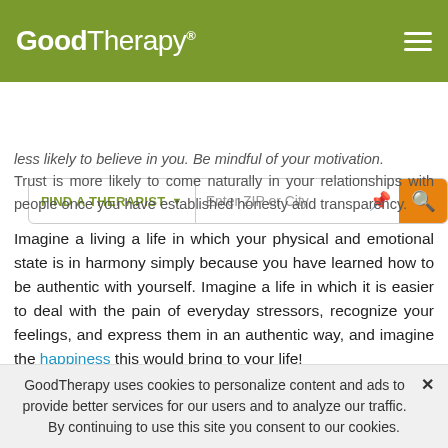GoodTherapy®
[Figure (screenshot): Search bar with FIND A THERAPIST dropdown, Enter ZIP or City text input, location pin icon, and orange search button]
less likely to believe in you. Be mindful of your motivation. Trust is more likely to come naturally in your relationships with people once you have established honesty and transparency.
Imagine a living a life in which your physical and emotional state is in harmony simply because you have learned how to be authentic with yourself. Imagine a life in which it is easier to deal with the pain of everyday stressors, recognize your feelings, and express them in an authentic way, and imagine the happiness this would bring to your life!
GoodTherapy uses cookies to personalize content and ads to provide better services for our users and to analyze our traffic. By continuing to use this site you consent to our cookies.